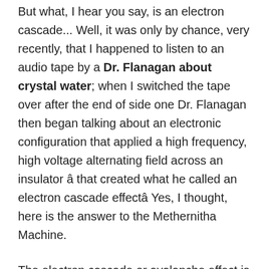But what, I hear you say, is an electron cascade... Well, it was only by chance, very recently, that I happened to listen to an audio tape by a Dr. Flanagan about crystal water; when I switched the tape over after the end of side one Dr. Flanagan then began talking about an electronic configuration that applied a high frequency, high voltage alternating field across an insulator â that created what he called an electron cascade effectâ Yes, I thought, here is the answer to the Methernitha Machine.
The electron cascade or avalanche effect is where air molecules are accelerated to the device at such a high velocity that they collide with other molecules and atoms in the air to liberate new electrons which in turn also collide and liberate even more 'free electrons' from other atoms and molecules (see Fig 7) - all of which keep